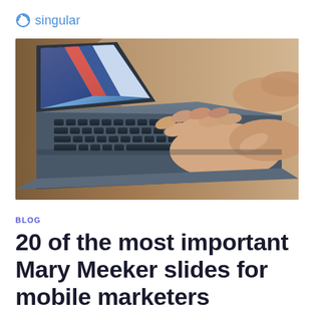singular
[Figure (photo): Close-up photo of a person's hands typing on a laptop keyboard, with the laptop screen partially visible on the left.]
BLOG
20 of the most important Mary Meeker slides for mobile marketers